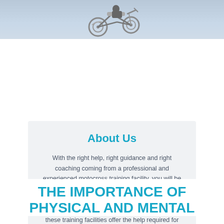[Figure (photo): A motocross dirt bike mid-air against a grey sky background, shown at the top of the page as a banner image.]
About Us
With the right help, right guidance and right coaching coming from a professional and experienced motocross training facility, you will be able to grab the skills, the mental balance and the physical condition needed for gaining success in motocross. Seasoned and professional riders at these training facilities offer the help required for empowering and building the best riders.
THE IMPORTANCE OF PHYSICAL AND MENTAL